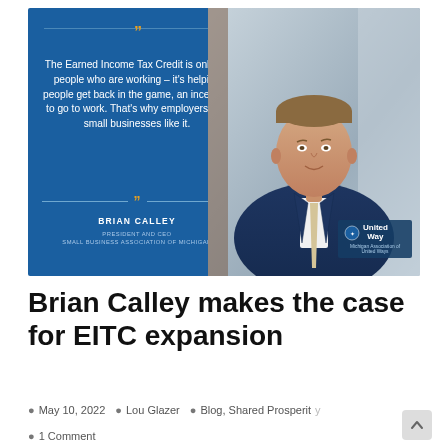[Figure (photo): Brian Calley quote card overlaid on a photo. Left blue panel with quote: 'The Earned Income Tax Credit is only for people who are working – it's helping people get back in the game, an incentive to go to work. That's why employers and small businesses like it.' Attribution: BRIAN CALLEY, PRESIDENT AND CEO, SMALL BUSINESS ASSOCIATION OF MICHIGAN. Right side shows a professional photo of Brian Calley in a navy suit. United Way Michigan Association of United Ways logo badge in bottom right.]
Brian Calley makes the case for EITC expansion
May 10, 2022   Lou Glazer   Blog, Shared Prosperity,
1 Comment